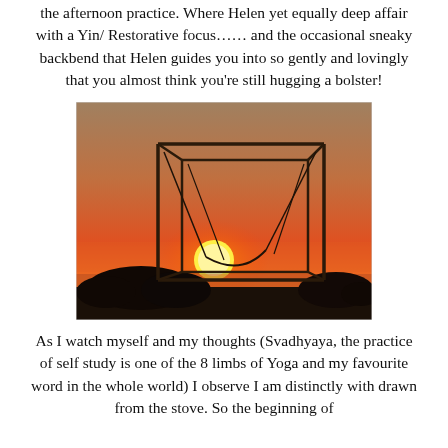the afternoon practice. Where Helen yet equally deep affair with a Yin/ Restorative focus…… and the occasional sneaky backbend that Helen guides you into so gently and lovingly that you almost think you're still hugging a bolster!
[Figure (photo): Sunset photograph showing a metal frame structure (like a pergola or swing frame) silhouetted against an orange and pink sunset sky, with dark shrubs and a body of water visible in the background.]
As I watch myself and my thoughts (Svadhyaya, the practice of self study is one of the 8 limbs of Yoga and my favourite word in the whole world) I observe I am distinctly with drawn from the stove. So the beginning of